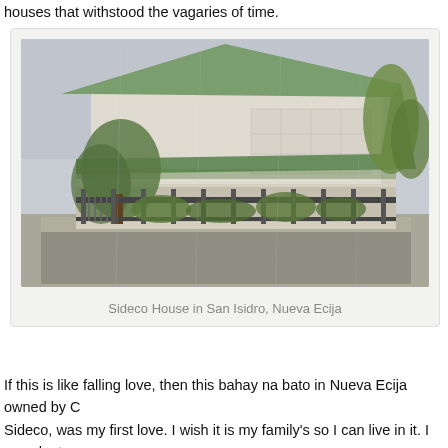houses that withstood the vagaries of time.
[Figure (photo): Photograph of the Sideco House in San Isidro, Nueva Ecija — a large traditional Filipino bahay na bato with a green metal hip roof, white concrete lower walls with iron fence, surrounded by trees.]
Sideco House in San Isidro, Nueva Ecija
If this is like falling love, then this bahay na bato in Nueva Ecija owned by C Sideco, was my first love. I wish it is my family's so I can live in it. I pass by t ancestral house when I visit my grandparents and each time, I pay a silent